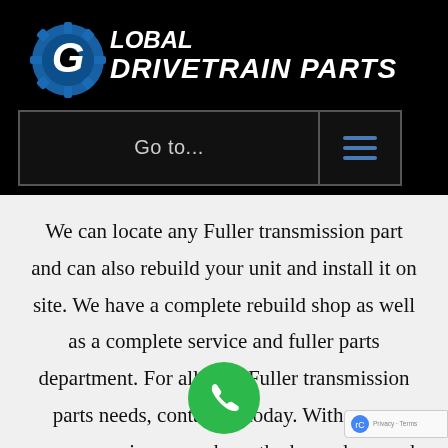[Figure (logo): Global Drivetrain Parts logo with gear icon and company name in white italic text on black background]
Go to...
We can locate any Fuller transmission part and can also rebuild your unit and install it on site. We have a complete rebuild shop as well as a complete service and fuller parts department. For all your Fuller transmission parts needs, contact us today. With many years experience, we have the know-how and the